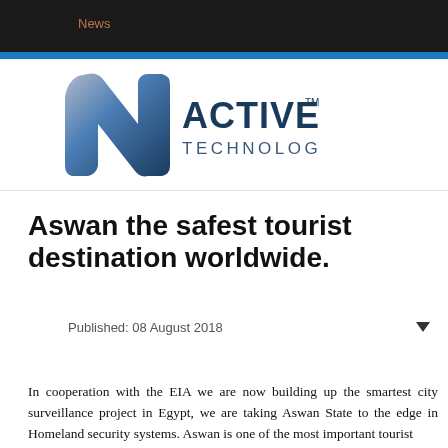News
[Figure (logo): Active Technologies logo — stylized N letter mark in blue/silver gradient beside the text 'ACTIVE TECHNOLOGIES' with TM mark]
Aswan the safest tourist destination worldwide.
Published: 08 August 2018
In cooperation with the EIA we are now building up the smartest city surveillance project in Egypt, we are taking Aswan State to the edge in Homeland security systems. Aswan is one of the most important tourist